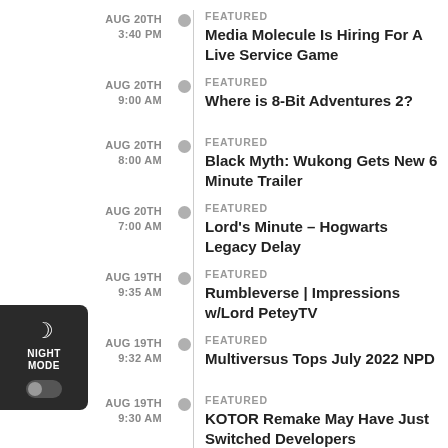AUG 20TH 3:40 PM | FEATURED | Media Molecule Is Hiring For A Live Service Game
AUG 20TH 9:00 AM | FEATURED | Where is 8-Bit Adventures 2?
AUG 20TH 8:00 AM | FEATURED | Black Myth: Wukong Gets New 6 Minute Trailer
AUG 20TH 7:00 AM | FEATURED | Lord's Minute – Hogwarts Legacy Delay
AUG 19TH 9:35 AM | FEATURED | Rumbleverse | Impressions w/Lord PeteyTV
AUG 19TH 9:32 AM | FEATURED | Multiversus Tops July 2022 NPD
AUG 19TH 9:30 AM | FEATURED | KOTOR Remake May Have Just Switched Developers